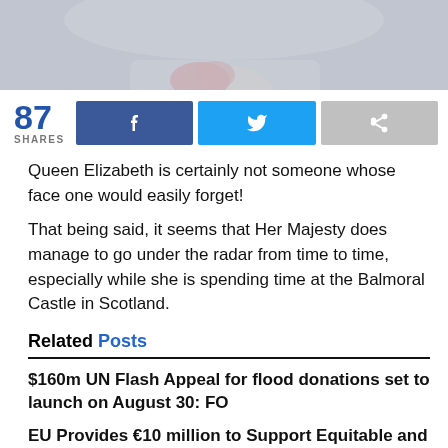[Figure (photo): Cropped photo of Queen Elizabeth showing neck/scarf area, muted colors]
87 SHARES
Queen Elizabeth is certainly not someone whose face one would easily forget!
That being said, it seems that Her Majesty does manage to go under the radar from time to time, especially while she is spending time at the Balmoral Castle in Scotland.
Related Posts
$160m UN Flash Appeal for flood donations set to launch on August 30: FO
EU Provides €10 million to Support Equitable and Inclusive Education in Sindh